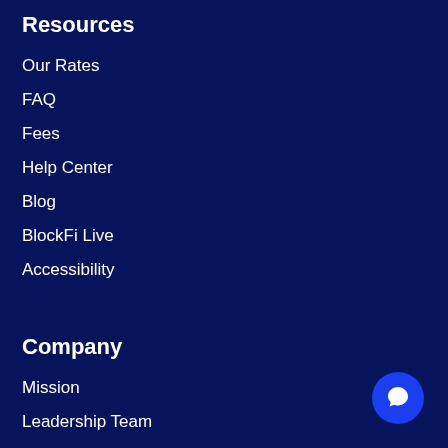Resources
Our Rates
FAQ
Fees
Help Center
Blog
BlockFi Live
Accessibility
Company
Mission
Leadership Team
Investors
Jobs
Contact us